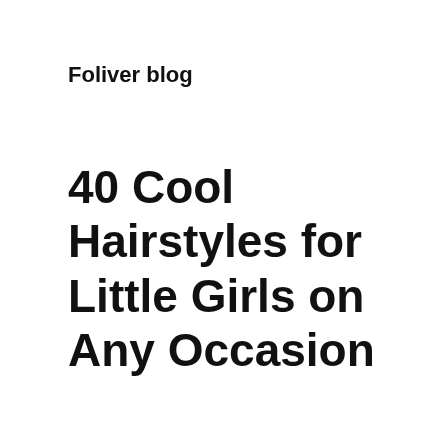Foliver blog
40 Cool Hairstyles for Little Girls on Any Occasion